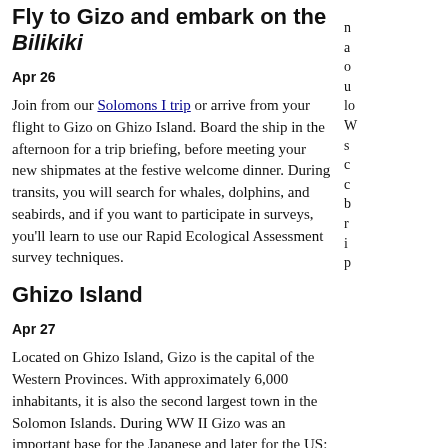Fly to Gizo and embark on the Bilikiki
n a o u lo W s c c b r i p
Apr 26
Join from our Solomons I trip or arrive from your flight to Gizo on Ghizo Island. Board the ship in the afternoon for a trip briefing, before meeting your new shipmates at the festive welcome dinner. During transits, you will search for whales, dolphins, and seabirds, and if you want to participate in surveys, you'll learn to use our Rapid Ecological Assessment survey techniques.
Ghizo Island
Apr 27
Located on Ghizo Island, Gizo is the capital of the Western Provinces. With approximately 6,000 inhabitants, it is also the second largest town in the Solomon Islands. During WW II Gizo was an important base for the Japanese and later for the US; for wreck divers, the waters surrounding the island present a wealth of sunken airplanes and ships brought down in battle.
The Ghizo area has many excellent snorkeling and diving sites, plus several sites of cultural and historic interest. In 2006, marine